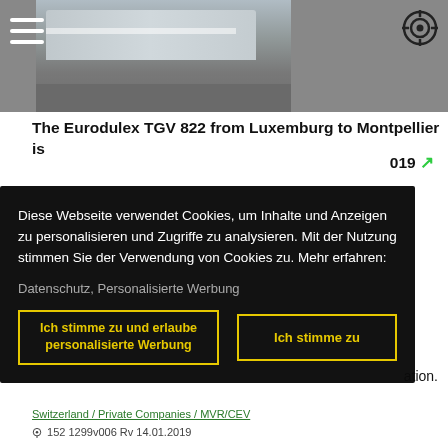[Figure (photo): Train platform photo showing a train and station platform, partially visible in top-left area]
The Eurodulex TGV 822 from Luxemburg to Montpellier is
019 [external link icon]
[Figure (screenshot): Cookie consent overlay on dark background with German text: 'Diese Webseite verwendet Cookies, um Inhalte und Anzeigen zu personalisieren und Zugriffe zu analysieren. Mit der Nutzung stimmen Sie der Verwendung von Cookies zu. Mehr erfahren: Datenschutz, Personalisierte Werbung' and two buttons: 'Ich stimme zu und erlaube personalisierte Werbung' and 'Ich stimme zu']
ation.
Switzerland / Private Companies / MVR/CEV
152 1299v006 Rv 14.01.2019